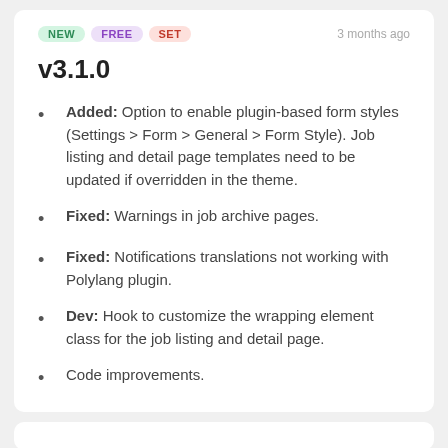v3.1.0
Added: Option to enable plugin-based form styles (Settings > Form > General > Form Style). Job listing and detail page templates need to be updated if overridden in the theme.
Fixed: Warnings in job archive pages.
Fixed: Notifications translations not working with Polylang plugin.
Dev: Hook to customize the wrapping element class for the job listing and detail page.
Code improvements.